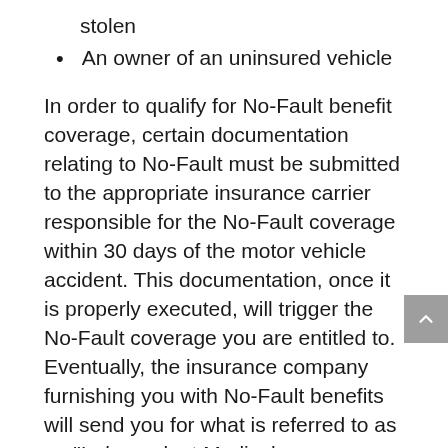stolen
An owner of an uninsured vehicle
In order to qualify for No-Fault benefit coverage, certain documentation relating to No-Fault must be submitted to the appropriate insurance carrier responsible for the No-Fault coverage within 30 days of the motor vehicle accident. This documentation, once it is properly executed, will trigger the No-Fault coverage you are entitled to. Eventually, the insurance company furnishing you with No-Fault benefits will send you for what is referred to as an "Independent Medical Examination" (IME) to determine whether you still need medical treatment. Of course, this IME is often